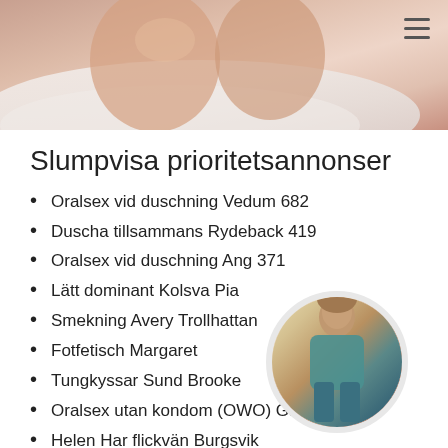[Figure (photo): Close-up photo of person's midsection/lap area with light fabric background, hamburger menu icon in top right corner]
Slumpvisa prioritetsannonser
Oralsex vid duschning Vedum 682
Duscha tillsammans Rydeback 419
Oralsex vid duschning Ang 371
Lätt dominant Kolsva Pia
Smekning Avery Trollhattan
Fotfetisch Margaret
Tungkyssar Sund Brooke
Oralsex utan kondom (OWO) Gab…
Helen Har flickvän Burgsvik
Katie Foto Arboga
Caroline Slavträning (urination)